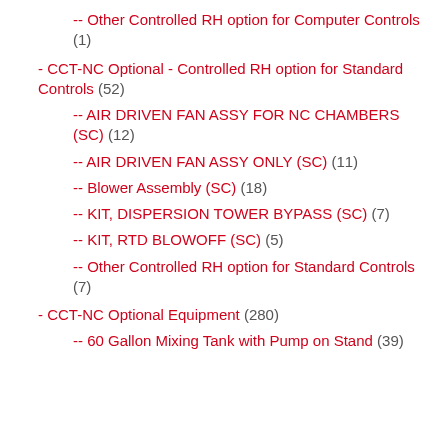-- Other Controlled RH option for Computer Controls (1)
- CCT-NC Optional - Controlled RH option for Standard Controls (52)
-- AIR DRIVEN FAN ASSY FOR NC CHAMBERS (SC) (12)
-- AIR DRIVEN FAN ASSY ONLY (SC) (11)
-- Blower Assembly (SC) (18)
-- KIT, DISPERSION TOWER BYPASS (SC) (7)
-- KIT, RTD BLOWOFF (SC) (5)
-- Other Controlled RH option for Standard Controls (7)
- CCT-NC Optional Equipment (280)
-- 60 Gallon Mixing Tank with Pump on Stand (39)